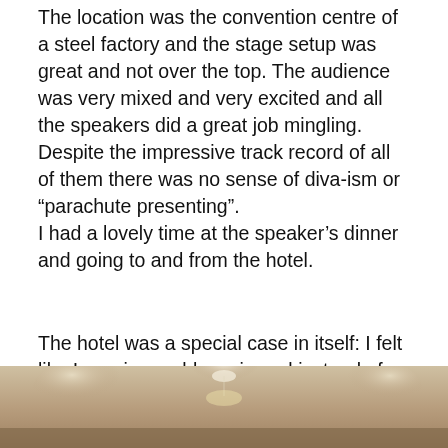The location was the convention centre of a steel factory and the stage setup was great and not over the top. The audience was very mixed and very excited and all the speakers did a great job mingling. Despite the impressive track record of all of them there was no sense of diva-ism or “parachute presenting”. I had a lovely time at the speaker’s dinner and going to and from the hotel.
The hotel was a special case in itself: I felt like I was in an old movie and instead of using my laptop I was tempted to grow a tufty beard and wear layers and layers of clothes and a nice watch on a chain.
[Figure (photo): Partial photo at the bottom of the page showing a warm, dimly lit interior scene, likely the hotel mentioned in the text.]